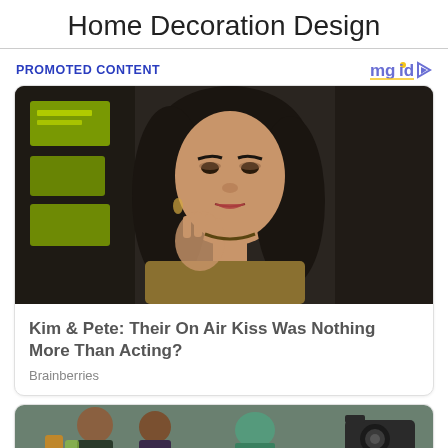Home Decoration Design
PROMOTED CONTENT
[Figure (photo): Photo of a woman with long dark wavy hair, wearing a gold mesh top, gesturing with her hand, dark background with green signs]
Kim & Pete: Their On Air Kiss Was Nothing More Than Acting?
Brainberries
[Figure (photo): Partial photo showing people at what appears to be a social gathering or event, with a camera visible]